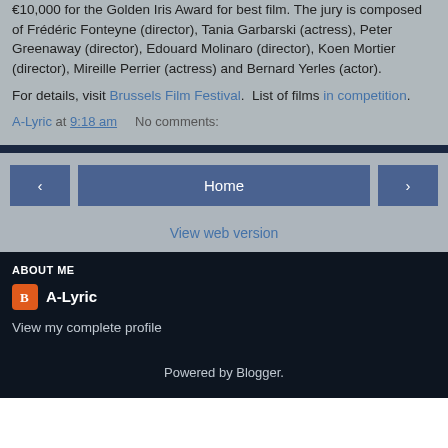€10,000 for the Golden Iris Award for best film. The jury is composed of Frédéric Fonteyne (director), Tania Garbarski (actress), Peter Greenaway (director), Edouard Molinaro (director), Koen Mortier (director), Mireille Perrier (actress) and Bernard Yerles (actor).
For details, visit Brussels Film Festival. List of films in competition.
A-Lyric at 9:18 am   No comments:
Home
View web version
ABOUT ME
A-Lyric
View my complete profile
Powered by Blogger.